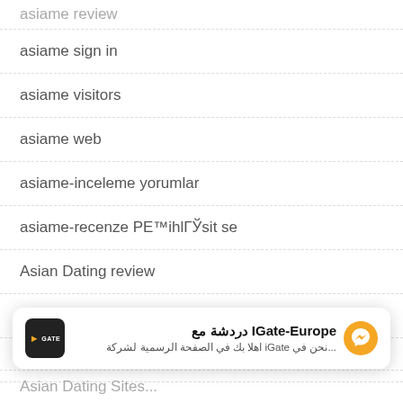asiame review
asiame sign in
asiame visitors
asiame web
asiame-inceleme yorumlar
asiame-recenze PЕ™ihlГЎsit se
Asian Dating review
Asian Dating Sites advice
Asian Dating Sites online
[Figure (screenshot): IGate-Europe messenger chat popup with Arabic text]
Asian Dating Sites...